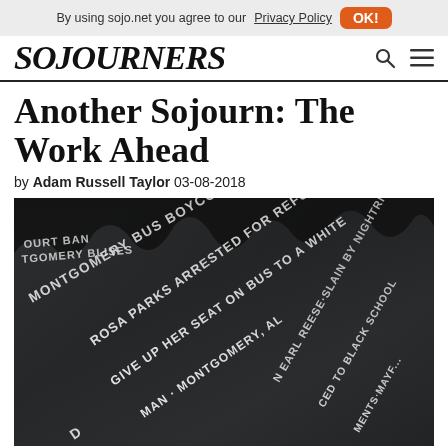By using sojo.net you agree to our Privacy Policy  OK!
SOJOURNERS
Another Sojourn: The Work Ahead
by Adam Russell Taylor 03-08-2018
[Figure (photo): Close-up photograph of a dark stone or granite memorial surface with white engraved text referencing civil rights events including Rosa Parks arrest and Montgomery Bus Boycott.]